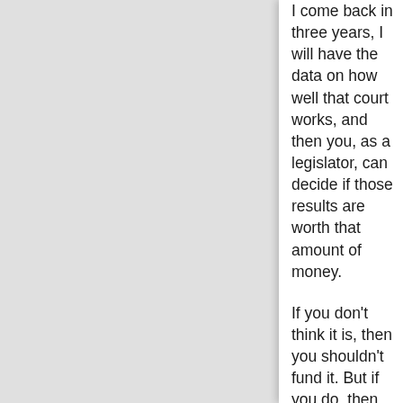I come back in three years, I will have the data on how well that court works, and then you, as a legislator, can decide if those results are worth that amount of money.
If you don't think it is, then you shouldn't fund it. But if you do, then now, instead of investing money on a hope that something will work, you can